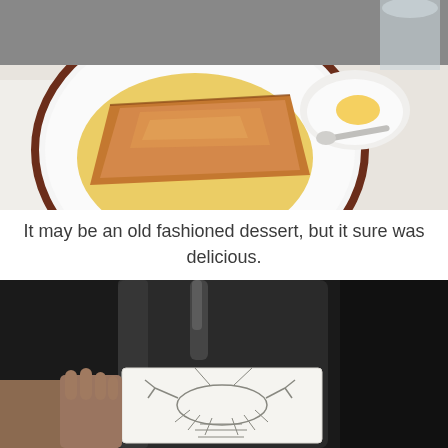[Figure (photo): Overhead view of a white plate with a brown-rimmed border containing a golden crepe or pastry in a yellow buttery sauce, on a white tablecloth. To the right is a small white dish with butter and a silver spoon.]
It may be an old fashioned dessert, but it sure was delicious.
[Figure (photo): Close-up of a dark wine bottle being held by a hand, showing a white label with a line-drawing of a crustacean or lobster in gray ink.]